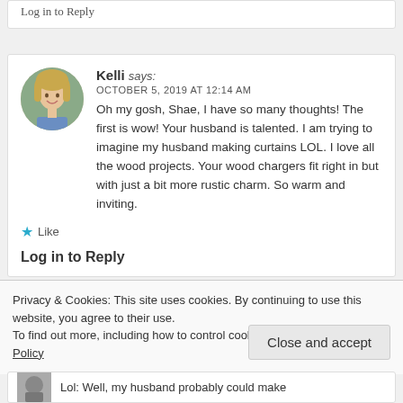Log in to Reply
Kelli says:
OCTOBER 5, 2019 AT 12:14 AM
Oh my gosh, Shae, I have so many thoughts! The first is wow! Your husband is talented. I am trying to imagine my husband making curtains LOL. I love all the wood projects. Your wood chargers fit right in but with just a bit more rustic charm. So warm and inviting.
★ Like
Log in to Reply
Privacy & Cookies: This site uses cookies. By continuing to use this website, you agree to their use.
To find out more, including how to control cookies, see here: Cookie Policy
Close and accept
Lol: Well, my husband probably could make